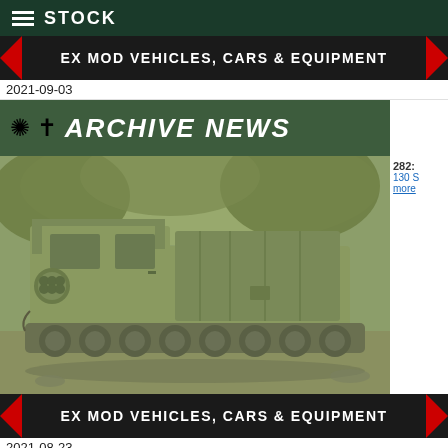STOCK
EX MOD VEHICLES, CARS & EQUIPMENT
2021-09-03
ARCHIVE NEWS
[Figure (photo): Military tracked vehicle (M270 MLRS or similar) in olive drab, with canvas-covered cargo area, photographed outdoors in sepia/green tint]
282:
130 S
more
EX MOD VEHICLES, CARS & EQUIPMENT
2021-08-23
Shopping cart | Envelope icons